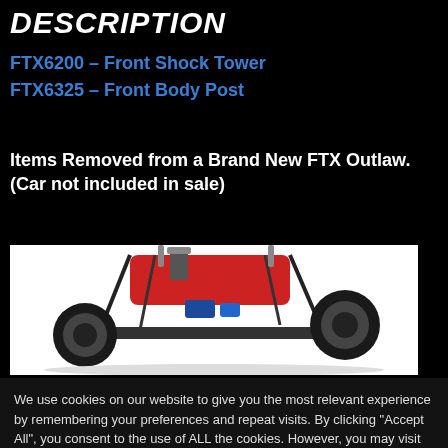DESCRIPTION
FTX6200 – Front Shock Tower
FTX6325 – Front Body Post
Items Removed from a Brand New FTX Outlaw. (Car not included in sale)
[Figure (photo): Photo of an FTX Outlaw RC car showing the front shock tower and front body post area, white background]
We use cookies on our website to give you the most relevant experience by remembering your preferences and repeat visits. By clicking "Accept All", you consent to the use of ALL the cookies. However, you may visit "Cookie Settings" to provide a controlled consent.